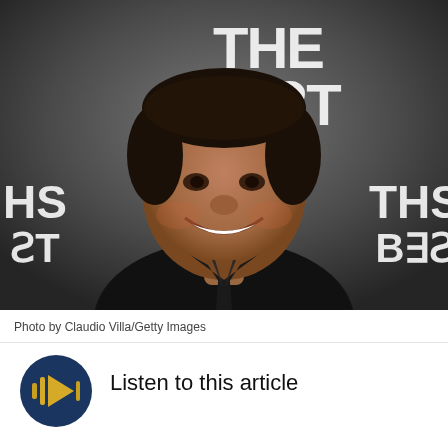[Figure (photo): Smiling man in black suit and tie at a FIFA event, photographed against a dark backdrop with 'THE BEST' and 'FIFA FOO' text visible]
Photo by Claudio Villa/Getty Images
[Figure (other): Audio play button: dark navy circular button with orange/gold audio waveform play icon]
Listen to this article